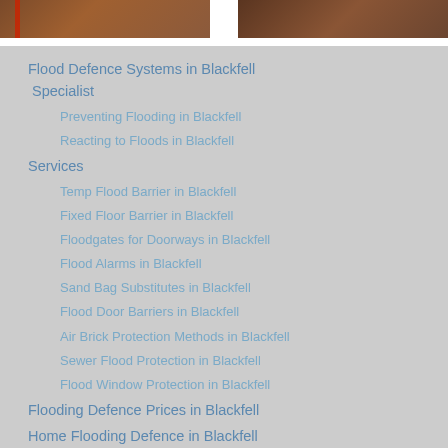[Figure (photo): Two side-by-side photos at top of page, both showing flood-related imagery with brown/reddish tones]
Flood Defence Systems in Blackfell Specialist
Preventing Flooding in Blackfell
Reacting to Floods in Blackfell
Services
Temp Flood Barrier in Blackfell
Fixed Floor Barrier in Blackfell
Floodgates for Doorways in Blackfell
Flood Alarms in Blackfell
Sand Bag Substitutes in Blackfell
Flood Door Barriers in Blackfell
Air Brick Protection Methods in Blackfell
Sewer Flood Protection in Blackfell
Flood Window Protection in Blackfell
Flooding Defence Prices in Blackfell
Home Flooding Defence in Blackfell
Industrial Flood Defence in Blackfell
Flood Information in Blackfell
Flooding Cleanup Services in Blackfell